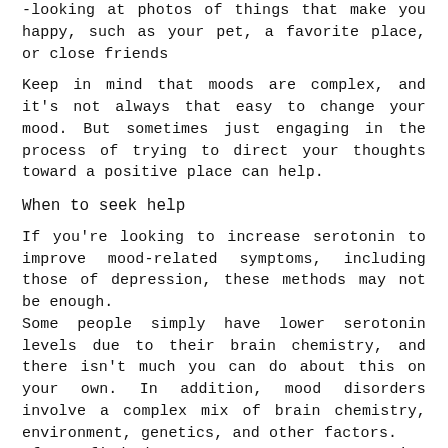-looking at photos of things that make you happy, such as your pet, a favorite place, or close friends
Keep in mind that moods are complex, and it's not always that easy to change your mood. But sometimes just engaging in the process of trying to direct your thoughts toward a positive place can help.
When to seek help
If you're looking to increase serotonin to improve mood-related symptoms, including those of depression, these methods may not be enough.
Some people simply have lower serotonin levels due to their brain chemistry, and there isn't much you can do about this on your own. In addition, mood disorders involve a complex mix of brain chemistry, environment, genetics, and other factors.
If you find that your symptoms are starting to impact your day-to-day life, consider reaching out for support from a therapist...